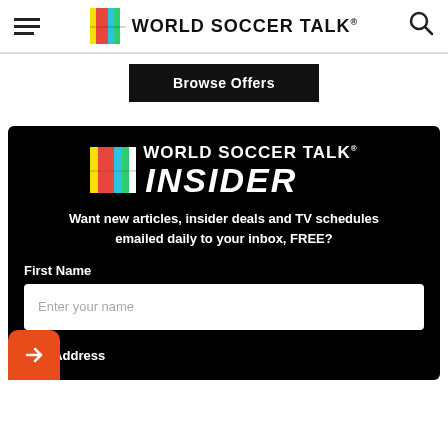World Soccer Talk
Browse Offers
[Figure (logo): World Soccer Talk Insider logo with colorful vertical bars and bold white text]
Want new articles, insider deals and TV schedules emailed daily to your inbox, FREE?
First Name
Enter your name
mail Address